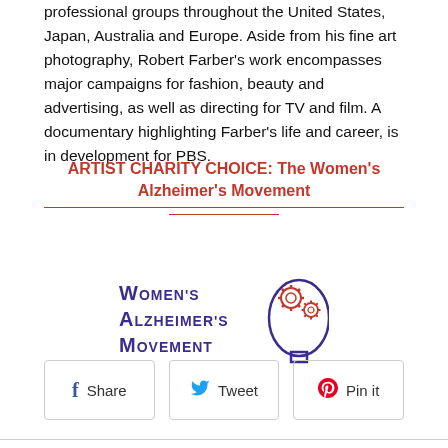professional groups throughout the United States, Japan, Australia and Europe. Aside from his fine art photography, Robert Farber's work encompasses major campaigns for fashion, beauty and advertising, as well as directing for TV and film. A documentary highlighting Farber's life and career, is in development for PBS.
ARTIST CHARITY CHOICE: The Women's Alzheimer's Movement
[Figure (logo): Women's Alzheimer's Movement logo — text in purple/dark blue lettering with a head silhouette containing gear icons in red]
Share  Tweet  Pin it